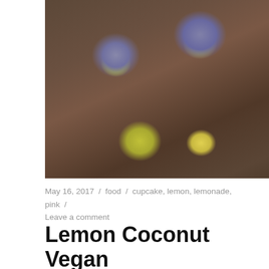[Figure (photo): Overhead photo of decorated cupcakes on a wooden surface, with rose-swirl frosting in purple, yellow-green, and yellow colors in red paper liners]
May 16, 2017 / food / cupcake, lemon, lemonade, pink / Leave a comment
Lemon Coconut Vegan Doughnuts
[Figure (photo): Overhead photo of glazed doughnuts with shredded coconut on a wooden board]